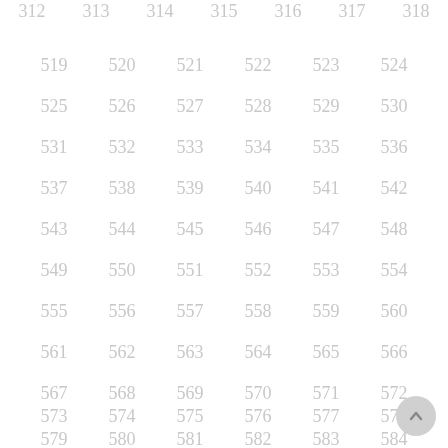312 313 314 315 316 317 318
519 520 521 522 523 524
525 526 527 528 529 530
531 532 533 534 535 536
537 538 539 540 541 542
543 544 545 546 547 548
549 550 551 552 553 554
555 556 557 558 559 560
561 562 563 564 565 566
567 568 569 570 571 572
573 574 575 576 577 578
579 580 581 582 583 584